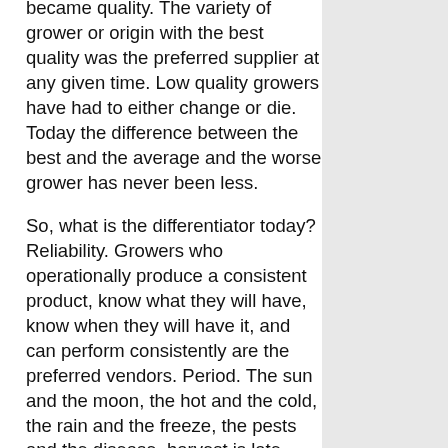became quality. The variety of grower or origin with the best quality was the preferred supplier at any given time. Low quality growers have had to either change or die. Today the difference between the best and the average and the worse grower has never been less.
So, what is the differentiator today? Reliability. Growers who operationally produce a consistent product, know what they will have, know when they will have it, and can perform consistently are the preferred vendors. Period. The sun and the moon, the hot and the cold, the rain and the freeze, the pests and the disease, harvest is late,